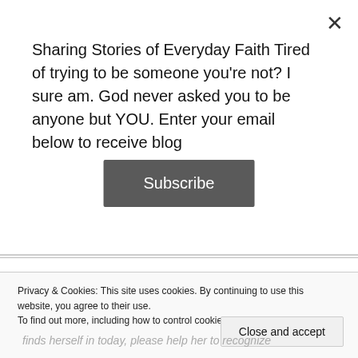Sharing Stories of Everyday Faith Tired of trying to be someone you're not? I sure am. God never asked you to be anyone but YOU. Enter your email below to receive blog
Subscribe
Or, consider purchasing Jennifer Silvera's book, Believe: A Young Widow's Journey Through Brokenness and Back. Whatever season you're in, whatever age you are, there's encouragement and wisdom in her book for everyone.
Privacy & Cookies: This site uses cookies. By continuing to use this website, you agree to their use.
To find out more, including how to control cookies, see here: Cookie Policy
Close and accept
finds herself in today, please help her to recognize